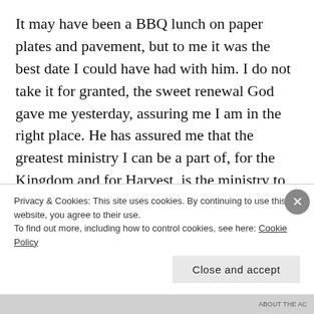It may have been a BBQ lunch on paper plates and pavement, but to me it was the best date I could have had with him. I do not take it for granted, the sweet renewal God gave me yesterday, assuring me I am in the right place. He has assured me that the greatest ministry I can be a part of, for the Kingdom and for Harvest, is the ministry to my husband, the time and love that I can give him is my greatest outreach and calling. I again am in
Privacy & Cookies: This site uses cookies. By continuing to use this website, you agree to their use.
To find out more, including how to control cookies, see here: Cookie Policy
Close and accept
ABOUT THE AC